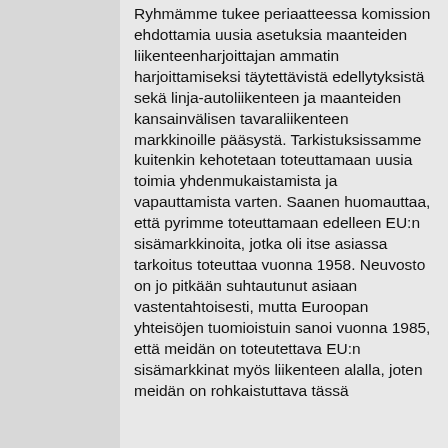Ryhmämme tukee periaatteessa komission ehdottamia uusia asetuksia maanteiden liikenteenharjoittajan ammatin harjoittamiseksi täytettävistä edellytyksistä sekä linja-autoliikenteen ja maanteiden kansainvälisen tavaraliikenteen markkinoille pääsystä. Tarkistuksissamme kuitenkin kehotetaan toteuttamaan uusia toimia yhdenmukaistamista ja vapauttamista varten. Saanen huomauttaa, että pyrimme toteuttamaan edelleen EU:n sisämarkkinoita, jotka oli itse asiassa tarkoitus toteuttaa vuonna 1958. Neuvosto on jo pitkään suhtautunut asiaan vastentahtoisesti, mutta Euroopan yhteisöjen tuomioistuin sanoi vuonna 1985, että meidän on toteutettava EU:n sisämarkkinat myös liikenteen alalla, joten meidän on rohkaistuttava tässä